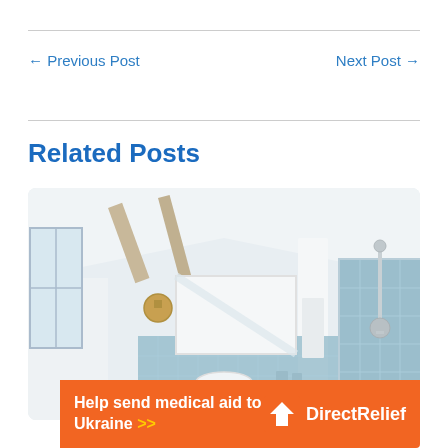← Previous Post
Next Post →
Related Posts
[Figure (photo): Interior bathroom photo showing a rustic-style bathroom with vaulted ceiling, exposed wood beams, a vessel sink on a wooden vanity, blue tiled walls, a framed mirror with decorative wall light, and a shower area with chrome fixtures on the right.]
Help send medical aid to Ukraine >> Direct Relief